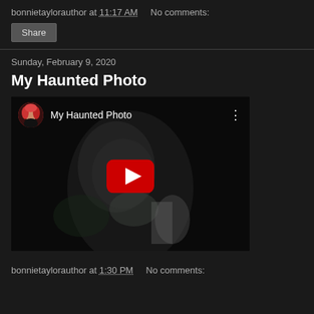bonnietaylorauthor at 11:17 AM    No comments:
Share
Sunday, February 9, 2020
My Haunted Photo
[Figure (screenshot): YouTube video embed thumbnail for 'My Haunted Photo' showing a dark blurry face with red YouTube play button, channel avatar of woman with red hair in top left corner]
bonnietaylorauthor at 1:30 PM    No comments: